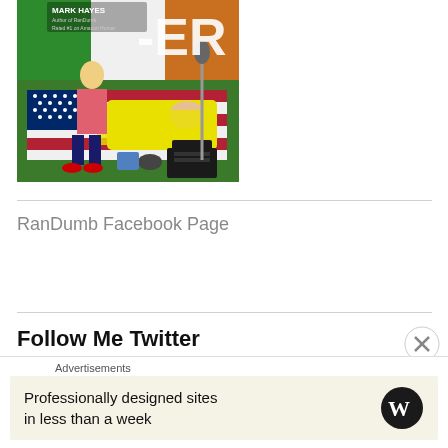[Figure (illustration): Book cover showing 'RanDumber' by Mark Hayes, Author of RanDumb, Rated #1 on Amazon Humor. Features pin-up style artwork with American flag motif, typewriter, and two figures on a couch.]
RanDumb Facebook Page
Follow Me Twitter
Advertisements
Professionally designed sites in less than a week